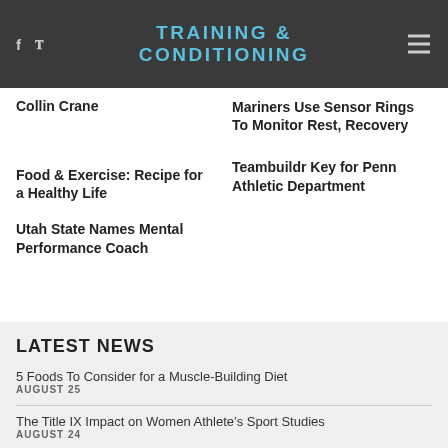TRAINING & CONDITIONING
Collin Crane
Mariners Use Sensor Rings To Monitor Rest, Recovery
Food & Exercise: Recipe for a Healthy Life
Teambuildr Key for Penn Athletic Department
Utah State Names Mental Performance Coach
LATEST NEWS
5 Foods To Consider for a Muscle-Building Diet
AUGUST 25
The Title IX Impact on Women Athlete’s Sport Studies
AUGUST 24